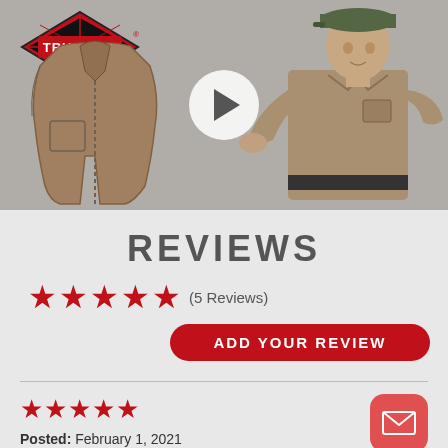[Figure (screenshot): TRU-SPEC product video thumbnail showing a man in military-style clothing and a jacket product shot, with a white play button overlay in the center]
REVIEWS
★★★★★ (5 Reviews)
ADD YOUR REVIEW
★★★★★
Posted: February 1, 2021
Reviewer: David Johnson